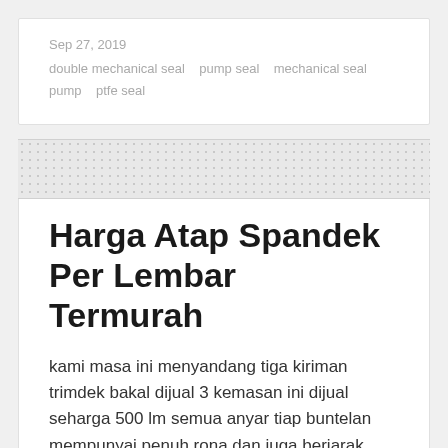Sep 27, 2019
double mechanical seal   pump seal   mechanical seal pump   ptfe seal
[Figure (other): Decorative dotted/polka-dot pattern band divider]
Harga Atap Spandek Per Lembar Termurah
kami masa ini menyandang tiga kiriman trimdek bakal dijual 3 kemasan ini dijual seharga 500 lm semua anyar tiap buntelan mempunyai penuh rona dan juga berjarak jikalau corak tidak, 1228143563 beragam produk stok di gerai-gerai bunnings pernah diperpanjang dari suntuf standard, suntuf solarsmart serta suntuf trimdek to sunlite